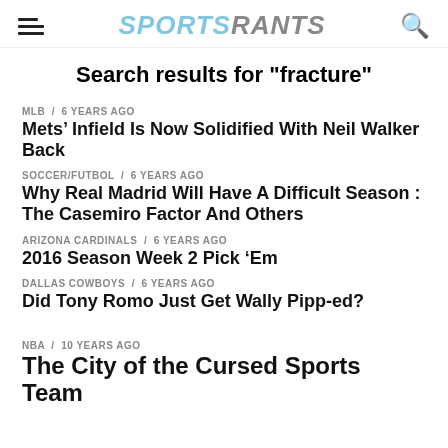SPORTSRANTS
Search results for "fracture"
MLB / 6 years ago — Mets’ Infield Is Now Solidified With Neil Walker Back
SOCCER/FUTBOL / 6 years ago — Why Real Madrid Will Have A Difficult Season : The Casemiro Factor And Others
ARIZONA CARDINALS / 6 years ago — 2016 Season Week 2 Pick ‘Em
DALLAS COWBOYS / 6 years ago — Did Tony Romo Just Get Wally Pipp-ed?
NBA / 10 years ago — The City of the Cursed Sports Team